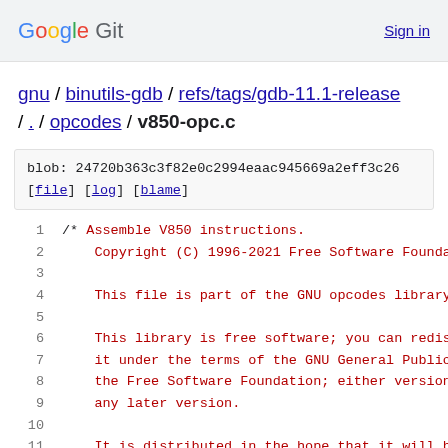Google Git  Sign in
gnu / binutils-gdb / refs/tags/gdb-11.1-release / . / opcodes / v850-opc.c
blob: 24720b363c3f82e0c2994eaac945669a2eff3c26
[file] [log] [blame]
1   /* Assemble V850 instructions.
2       Copyright (C) 1996-2021 Free Software Founda
3
4       This file is part of the GNU opcodes library
5
6       This library is free software; you can redis
7       it under the terms of the GNU General Public
8       the Free Software Foundation; either version
9       any later version.
10
11      It is distributed in the hope that it will b